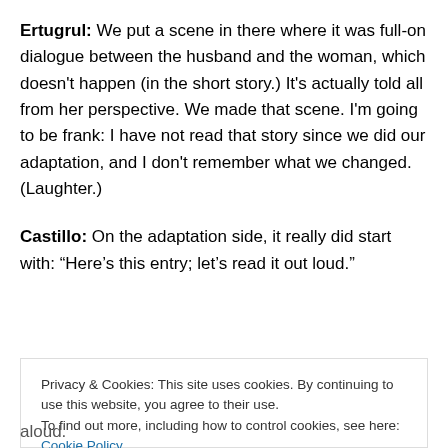Ertugrul: We put a scene in there where it was full-on dialogue between the husband and the woman, which doesn't happen (in the short story.) It's actually told all from her perspective. We made that scene. I'm going to be frank: I have not read that story since we did our adaptation, and I don't remember what we changed. (Laughter.)
Castillo: On the adaptation side, it really did start with: “Here’s this entry; let’s read it out loud.”
aloud.
Privacy & Cookies: This site uses cookies. By continuing to use this website, you agree to their use.
To find out more, including how to control cookies, see here: Cookie Policy
Close and accept